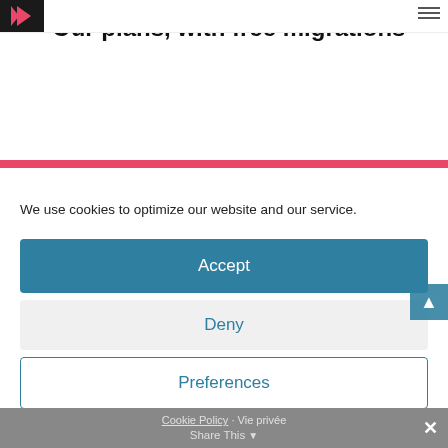Our plans, with free migrations
Our plans, with free migrations
We use cookies to optimize our website and our service.
Accept
Deny
Preferences
Cookie Policy · Vie privée   Share This   ✕